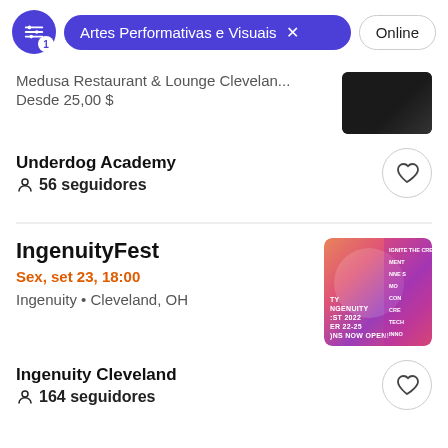Artes Performativas e Visuais | Online
Medusa Restaurant & Lounge Clevelan...
Desde 25,00 $
Underdog Academy
56 seguidores
IngenuityFest
Sex, set 23, 18:00
Ingenuity • Cleveland, OH
Ingenuity Cleveland
164 seguidores